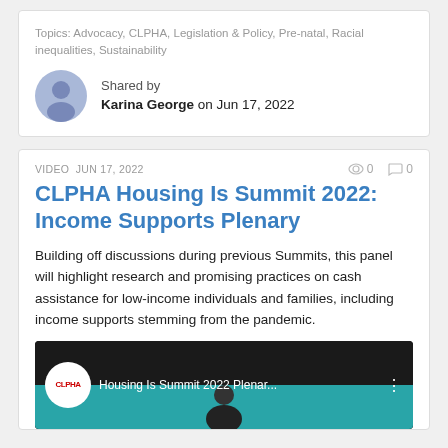Topics: Advocacy, CLPHA, Legislation & Policy, Pre-natal, Racial inequalities, Sustainability
Shared by
Karina George on Jun 17, 2022
VIDEO JUN 17, 2022
CLPHA Housing Is Summit 2022: Income Supports Plenary
Building off discussions during previous Summits, this panel will highlight research and promising practices on cash assistance for low-income individuals and families, including income supports stemming from the pandemic.
[Figure (screenshot): YouTube video thumbnail showing CLPHA Housing Is Summit 2022 Plenary with CLPHA logo circle on left and text 'Housing Is Summit 2022 Plenar...' with a person visible at the bottom on a teal background.]